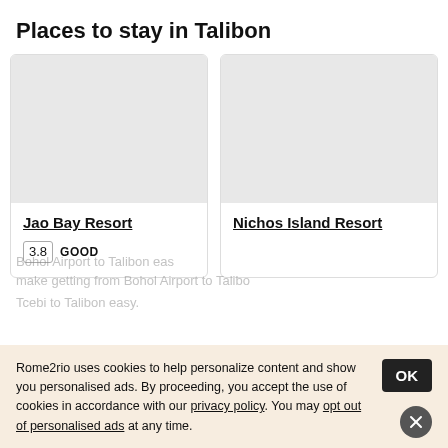Places to stay in Talibon
[Figure (photo): Hotel card image placeholder for Jao Bay Resort (gray rectangle)]
Jao Bay Resort
3.8  GOOD
[Figure (photo): Hotel card image placeholder for Nichos Island Resort (gray rectangle)]
Nichos Island Resort
Rome2rio uses cookies to help personalize content and show you personalised ads. By proceeding, you accept the use of cookies in accordance with our privacy policy. You may opt out of personalised ads at any time.